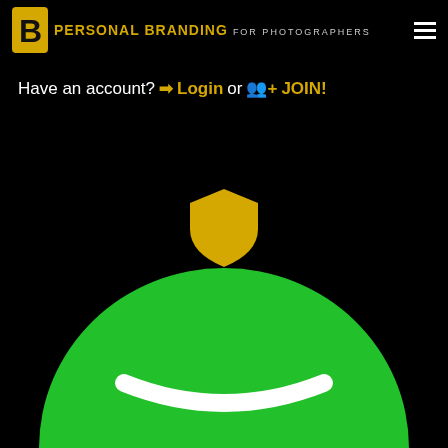PERSONAL BRANDING FOR PHOTOGRAPHERS
Have an account? Login or JOIN!
[Figure (illustration): Golden shield/badge icon in the center of page]
[Figure (illustration): Green cartoon character/avatar head showing from bottom of page, with white smile]